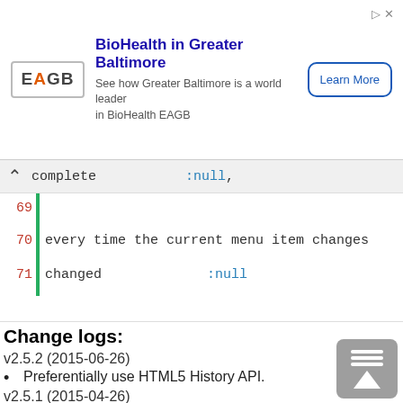[Figure (other): Advertisement banner for BioHealth in Greater Baltimore (EAGB) with logo, text, and Learn More button]
complete    :null,
69
70  every time the current menu item changes
71  changed    :null
Change logs:
v2.5.2 (2015-06-26)
Preferentially use HTML5 History API.
v2.5.1 (2015-04-26)
Preferentially use HTML5 History API.
v2.5.0 (2015-04-05)
Add offsetTop option - adds a top offset value (pixels) or jQuery element (height is measured), of any top menu or gap.